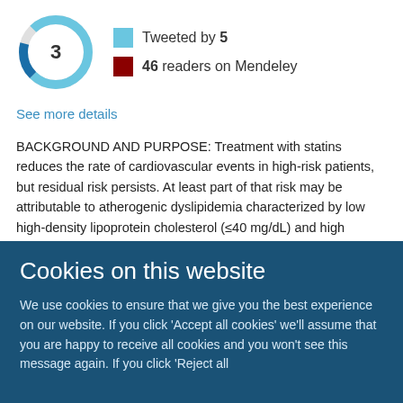[Figure (donut-chart): Altmetric donut chart showing score of 3, with teal/blue ring segments]
Tweeted by 5
46 readers on Mendeley
See more details
BACKGROUND AND PURPOSE: Treatment with statins reduces the rate of cardiovascular events in high-risk patients, but residual risk persists. At least part of that risk may be attributable to atherogenic dyslipidemia characterized by low high-density lipoprotein cholesterol (≤40 mg/dL) and high triglycerides (triglycerides≥150 mg/dL). METHODS: We
Cookies on this website
We use cookies to ensure that we give you the best experience on our website. If you click 'Accept all cookies' we'll assume that you are happy to receive all cookies and you won't see this message again. If you click 'Reject all